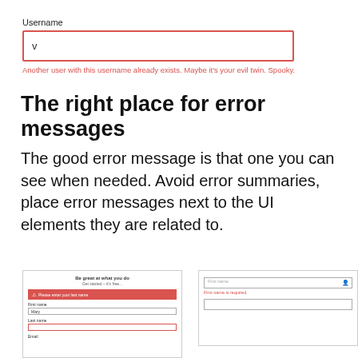Username
[Figure (screenshot): Form field: Username input with red border containing 'v', with red error text: 'Another user with this username already exists. Maybe it's your evil twin. Spooky.']
The right place for error messages
The good error message is that one you can see when needed. Avoid error summaries, place error messages next to the UI elements they are related to.
[Figure (screenshot): Left UI mockup: signup form with red error bar 'Please enter your last name', fields for First name (Mary), Last name (red border, empty), Email]
[Figure (screenshot): Right UI mockup: First name input field (empty, placeholder 'First name') with person icon, red error 'First name is required', and another empty input below]